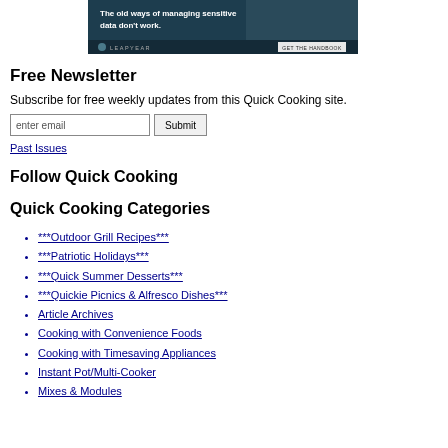[Figure (screenshot): Advertisement banner for Leapyear with text 'The old ways of managing sensitive data don't work.' and a 'GET THE HANDBOOK' button, dark teal background with a person graphic on the right.]
Free Newsletter
Subscribe for free weekly updates from this Quick Cooking site.
enter email [input box] Submit [button]
Past Issues
Follow Quick Cooking
Quick Cooking Categories
***Outdoor Grill Recipes***
***Patriotic Holidays***
***Quick Summer Desserts***
***Quickie Picnics & Alfresco Dishes***
Article Archives
Cooking with Convenience Foods
Cooking with Timesaving Appliances
Instant Pot/Multi-Cooker
Mixes & Modules